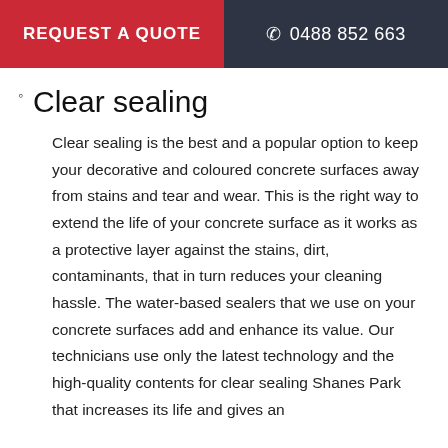REQUEST A QUOTE   ☎ 0488 852 663
Clear sealing
Clear sealing is the best and a popular option to keep your decorative and coloured concrete surfaces away from stains and tear and wear. This is the right way to extend the life of your concrete surface as it works as a protective layer against the stains, dirt, contaminants, that in turn reduces your cleaning hassle. The water-based sealers that we use on your concrete surfaces add and enhance its value. Our technicians use only the latest technology and the high-quality contents for clear sealing Shanes Park that increases its life and gives an